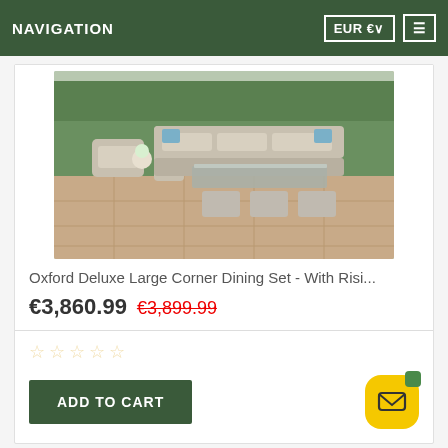NAVIGATION   EUR €∨   ≡
[Figure (photo): Outdoor garden furniture set — large L-shaped wicker corner sofa with grey cushions and blue accent pillows, matching wicker armchair, rectangular glass-top coffee/dining table, and four grey wicker ottomans, arranged on a stone patio with green hedges and flowers in the background.]
Oxford Deluxe Large Corner Dining Set - With Risi...
€3,860.99  €3,899.99
☆ ☆ ☆ ☆ ☆
ADD TO CART